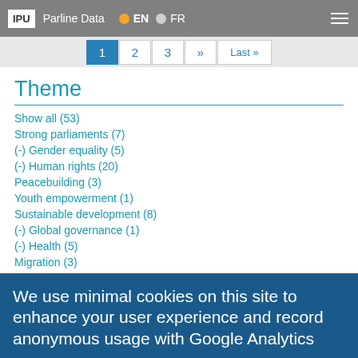IPU | Parline Data | EN | FR
1 2 3 » Last »
Theme
Show all (53)
Strong parliaments (7)
(-) Gender equality (5)
(-) Human rights (20)
Peacebuilding (3)
Youth empowerment (1)
Sustainable development (8)
(-) Global governance (1)
(-) Health (5)
Migration (3)
We use minimal cookies on this site to enhance your user experience and record anonymous usage with Google Analytics
By continuing to use the site, you agree to us doing so. Clicking the